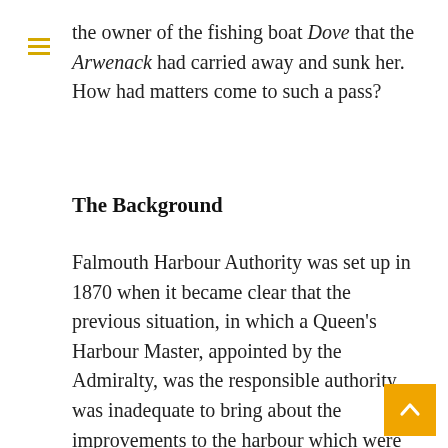the owner of the fishing boat Dove that the Arwenack had carried away and sunk her. How had matters come to such a pass?
The Background
Falmouth Harbour Authority was set up in 1870 when it became clear that the previous situation, in which a Queen's Harbour Master, appointed by the Admiralty, was the responsible authority, was inadequate to bring about the improvements to the harbour which were increasingly necessary as traffic expanded. According to Captain Tucker, a previous QHM and one of the Commissioners of Pilotage at Falmouth, the anchorage was too small and too shallow and there were no intelligible landmarks to guide strange vessels into it.[*] The harbour needed to be dredged and navigation